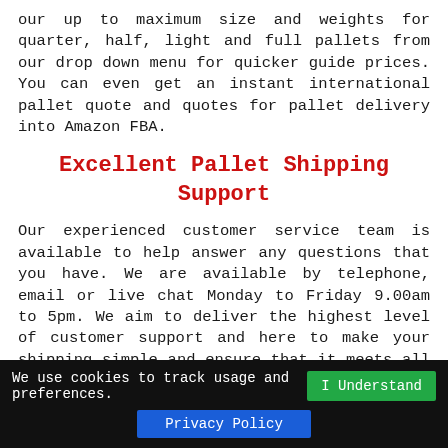our up to maximum size and weights for quarter, half, light and full pallets from our drop down menu for quicker guide prices. You can even get an instant international pallet quote and quotes for pallet delivery into Amazon FBA.
Excellent Pallet Shipping Support
Our experienced customer service team is available to help answer any questions that you have. We are available by telephone, email or live chat Monday to Friday 9.00am to 5pm. We aim to deliver the highest level of customer support and here to make your shipping simple and ensure that it meets all of your expectations. We have been delivering pallets for businesses for over a decade, so you are in the hands of experts. Please read some of the reviews below to see what our clients think.
We use cookies to track usage and preferences. I Understand Privacy Policy